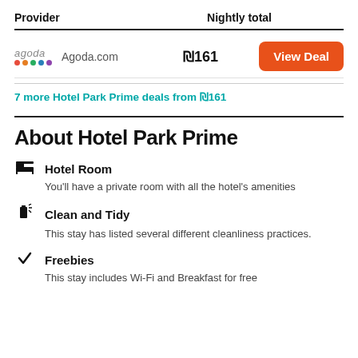| Provider | Nightly total |  |
| --- | --- | --- |
| Agoda.com | ₪161 | View Deal |
7 more Hotel Park Prime deals from ₪161
About Hotel Park Prime
Hotel Room
You'll have a private room with all the hotel's amenities
Clean and Tidy
This stay has listed several different cleanliness practices.
Freebies
This stay includes Wi-Fi and Breakfast for free